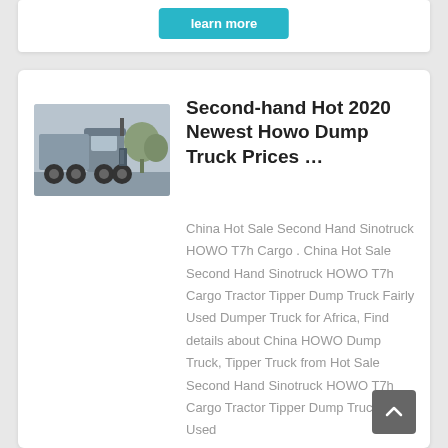[Figure (other): Learn more button (cyan/teal colored button) at top of page]
[Figure (photo): Photo of a gray Howo dump truck / tractor unit, side and front view, outdoors with trees in background]
Second-hand Hot 2020 Newest Howo Dump Truck Prices …
China Hot Sale Second Hand Sinotruck HOWO T7h Cargo . China Hot Sale Second Hand Sinotruck HOWO T7h Cargo Tractor Tipper Dump Truck Fairly Used Dumper Truck for Africa, Find details about China HOWO Dump Truck, Tipper Truck from Hot Sale Second Hand Sinotruck HOWO T7h Cargo Tractor Tipper Dump Truck Fairly Used